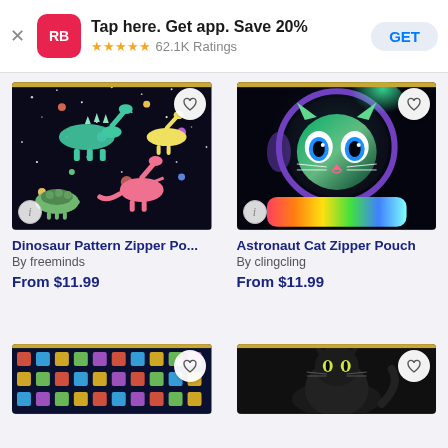[Figure (screenshot): App install banner for Redbubble app. Shows RB logo, text 'Tap here. Get app. Save 20%', 5 star rating with 62.1K Ratings, and GET button.]
Tap here. Get app. Save 20%
★★★★★ 62.1K Ratings
[Figure (photo): Dinosaur Pattern Zipper Pouch product image - black pouch with colorful pastel dinosaurs and planets on dark space background]
[Figure (photo): Astronaut Cat Zipper Pouch product image - black pouch with rainbow-colored cat in astronaut helmet]
Dinosaur Pattern Zipper Po...
By freeminds
From $11.99
Astronaut Cat Zipper Pouch
By clingcling
From $11.99
[Figure (photo): Bottom-left partial product image - dark pouch with colorful space/science icons pattern]
[Figure (photo): Bottom-right partial product image - black pouch with black cat silhouette pattern]